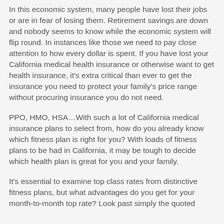In this economic system, many people have lost their jobs or are in fear of losing them. Retirement savings are down and nobody seems to know while the economic system will flip round. In instances like those we need to pay close attention to how every dollar is spent. If you have lost your California medical health insurance or otherwise want to get health insurance, it's extra critical than ever to get the insurance you need to protect your family's price range without procuring insurance you do not need.
PPO, HMO, HSA…With such a lot of California medical insurance plans to select from, how do you already know which fitness plan is right for you? With loads of fitness plans to be had in California, it may be tough to decide which health plan is great for you and your family.
It's essential to examine top class rates from distinctive fitness plans, but what advantages do you get for your month-to-month top rate? Look past simply the quoted